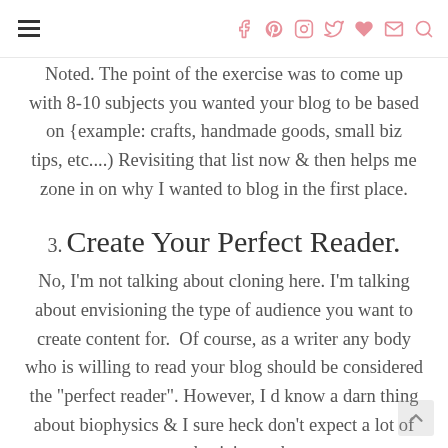Navigation header with hamburger menu and social icons
Noted. The point of the exercise was to come up with 8-10 subjects you wanted your blog to be based on {example: crafts, handmade goods, small biz tips, etc....) Revisiting that list now & then helps me zone in on why I wanted to blog in the first place.
3. Create Your Perfect Reader.
No, I'm not talking about cloning here. I'm talking about envisioning the type of audience you want to create content for. Of course, as a writer any body who is willing to read your blog should be considered the "perfect reader". However, I d know a darn thing about biophysics & I sure heck don't expect a lot of geaophysicists to be